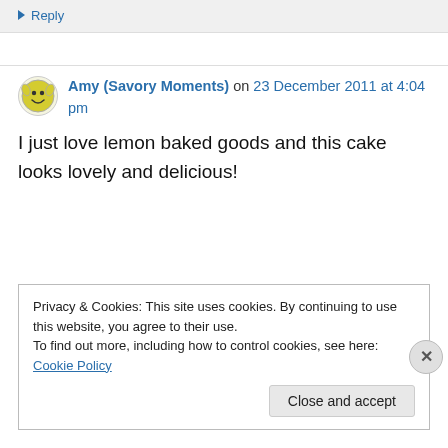↪ Reply
Amy (Savory Moments) on 23 December 2011 at 4:04 pm
I just love lemon baked goods and this cake looks lovely and delicious!
Privacy & Cookies: This site uses cookies. By continuing to use this website, you agree to their use. To find out more, including how to control cookies, see here: Cookie Policy